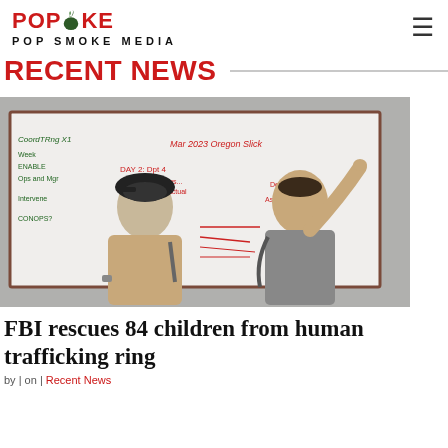POPSMOKE | POP SMOKE MEDIA
RECENT NEWS
[Figure (photo): Two men standing in front of a whiteboard covered in red and green handwritten notes and diagrams; one man (left) wears a baseball cap and tan shirt, the other (right) in a gray shirt is writing on the board.]
FBI rescues 84 children from human trafficking ring
by | on | Recent News